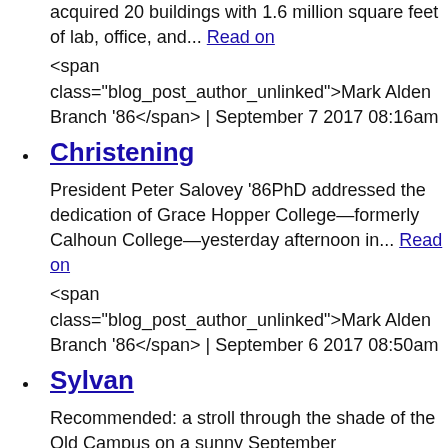acquired 20 buildings with 1.6 million square feet of lab, office, and... Read on
<span class="blog_post_author_unlinked">Mark Alden Branch '86</span> | September 7 2017 08:16am
Christening
President Peter Salovey '86PhD addressed the dedication of Grace Hopper College—formerly Calhoun College—yesterday afternoon in... Read on
<span class="blog_post_author_unlinked">Mark Alden Branch '86</span> | September 6 2017 08:50am
Sylvan
Recommended: a stroll through the shade of the Old Campus on a sunny September